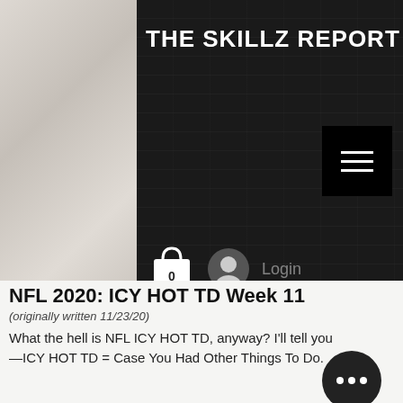THE SKILLZ REPORT
[Figure (screenshot): Dark textured website header with navigation icons: shopping bag with 0, user icon, Login text, TSR label in red italic, hamburger menu button, and social media icons (Facebook, Twitter, Instagram, RSS)]
NFL 2020: ICY HOT TD Week 11
(originally written 11/23/20)
What the hell is NFL ICY HOT TD, anyway? I'll tell you—ICY HOT TD = Case You Had Other Things To Do.